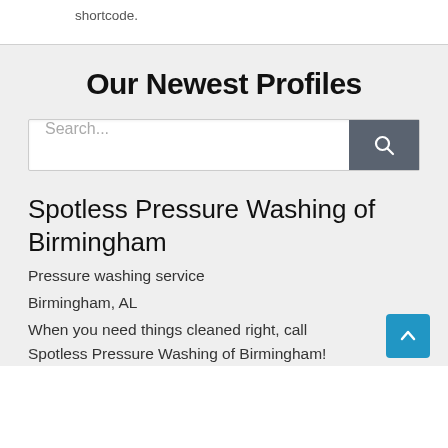shortcode.
Our Newest Profiles
Search...
Spotless Pressure Washing of Birmingham
Pressure washing service
Birmingham, AL
When you need things cleaned right, call Spotless Pressure Washing of Birmingham!